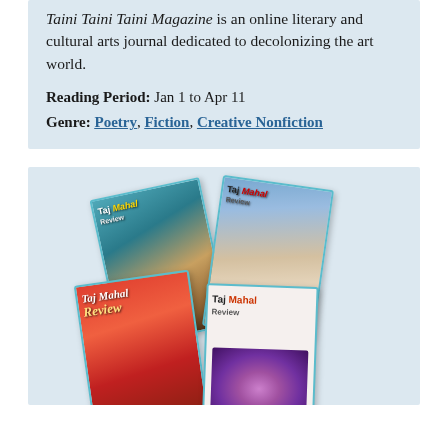Taini Taini Taini Magazine is an online literary and cultural arts journal dedicated to decolonizing the art world.
Reading Period:  Jan 1 to Apr 11
Genre:  Poetry, Fiction, Creative Nonfiction
[Figure (photo): A collage of four Taj Mahal Review magazine covers fanned out, showing various cover art including ocean/beach scene, roses, red landscape, and a floral image.]